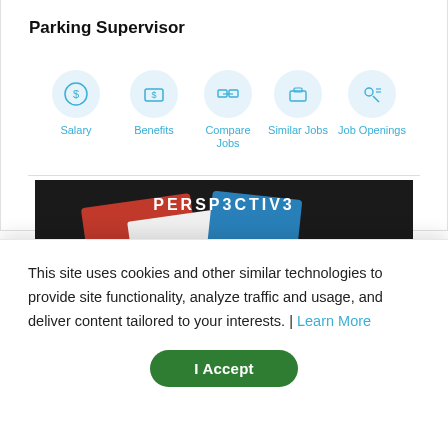Parking Supervisor
Salary | Benefits | Compare Jobs | Similar Jobs | Job Openings
[Figure (photo): Advertisement for book 'Perspective' by Daniel Ravner with text 'The 100 debates that govern your life.' and an 'Available on Amazon' button on dark background]
This site uses cookies and other similar technologies to provide site functionality, analyze traffic and usage, and deliver content tailored to your interests. | Learn More
I Accept